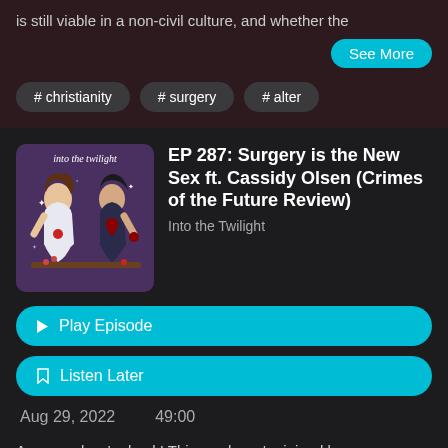is still viable in a non-civil culture, and whether the
See More
# christianity
# surgery
# alter
[Figure (illustration): Podcast artwork for 'Into the Twilight' showing two illustrated female characters]
EP 287: Surgery is the New Sex ft. Cassidy Olsen (Crimes of the Future Review)
Into the Twilight
▶ Play Episode
☐ Listen Later
Aug 29, 2022    49:00
Aaaaaand we're back! This week, we're joined by